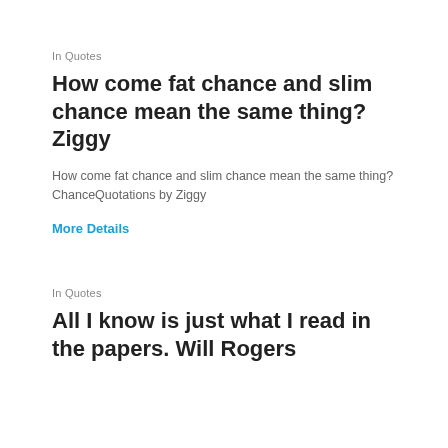In Quotes
How come fat chance and slim chance mean the same thing? Ziggy
How come fat chance and slim chance mean the same thing? ChanceQuotations by Ziggy
More Details
In Quotes
All I know is just what I read in the papers. Will Rogers